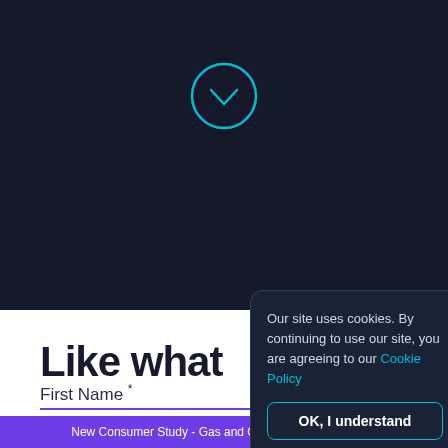[Figure (illustration): Dark navy header background with a circular chevron-down icon (teal/cyan border) centered near the top]
Our site uses cookies. By continuing to use our site, you are agreeing to our Cookie Policy
OK, I understand
Like what
First Name *
Work Email *
New Consumer Study - Gas and Convenience Read Now